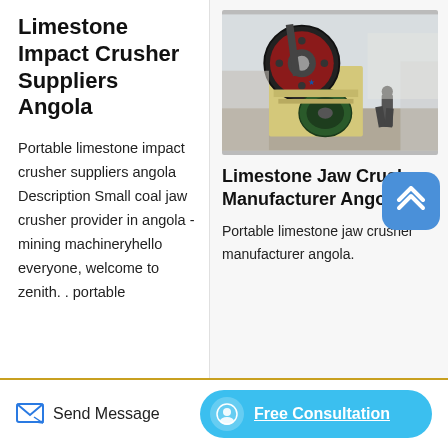Limestone Impact Crusher Suppliers Angola
Portable limestone impact crusher suppliers angola Description Small coal jaw crusher provider in angola - mining machineryhello everyone, welcome to zenith. . portable
[Figure (photo): Photo of a jaw crusher machine, large industrial equipment with green flywheel and yellow body, worker nearby in a quarry setting]
Limestone Jaw Crusher Manufacturer Angola
Portable limestone jaw crusher manufacturer angola.
Send Message   Free Consultation